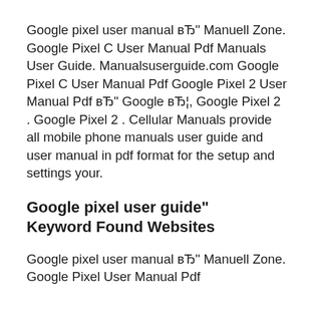Google pixel user manual вЂ" Manuell Zone. Google Pixel C User Manual Pdf Manuals User Guide. Manualsuserguide.com Google Pixel C User Manual Pdf Google Pixel 2 User Manual Pdf вЂ" Google вЂ¦, Google Pixel 2 . Google Pixel 2 . Cellular Manuals provide all mobile phone manuals user guide and user manual in pdf format for the setup and settings your.
Google pixel user guide" Keyword Found Websites
Google pixel user manual вЂ" Manuell Zone. Google Pixel User Manual Pdf